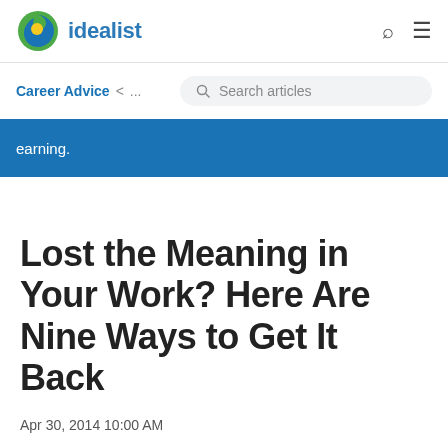idealist
Career Advice < ...
Search articles
earning.
Lost the Meaning in Your Work? Here Are Nine Ways to Get It Back
Apr 30, 2014 10:00 AM